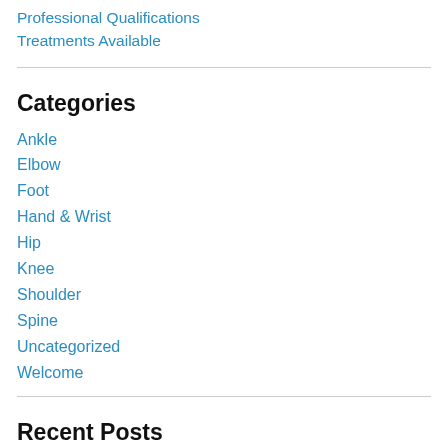Professional Qualifications
Treatments Available
Categories
Ankle
Elbow
Foot
Hand & Wrist
Hip
Knee
Shoulder
Spine
Uncategorized
Welcome
Recent Posts